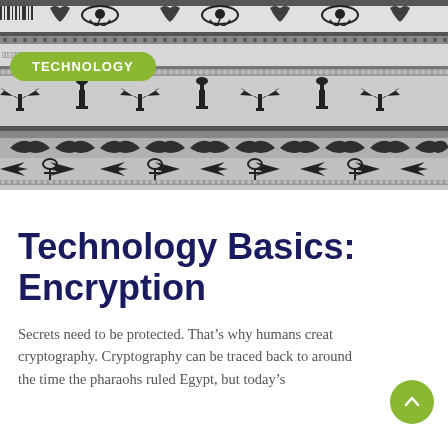[Figure (illustration): Egyptian hieroglyphic pattern banner with Eye of Horus, decorative symbols, ankh crosses, winged symbols, and silhouettes of ancient Egyptian figures dancing/walking in rows. A green 'TECHNOLOGY' badge overlays the top-left area.]
Technology Basics: Encryption
Secrets need to be protected. That's why humans created cryptography. Cryptography can be traced back to around the time the pharaohs ruled Egypt, but today's